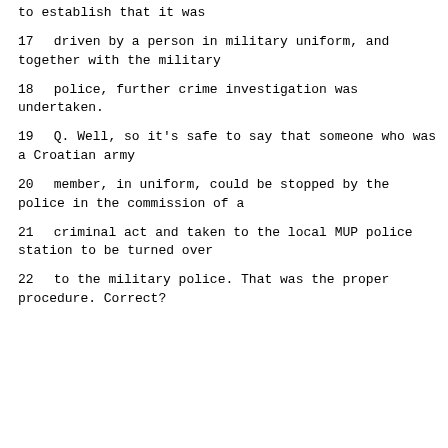to establish that it was
17      driven by a person in military uniform, and together with the military
18      police, further crime investigation was undertaken.
19        Q.   Well, so it's safe to say that someone who was a Croatian army
20      member, in uniform, could be stopped by the police in the commission of a
21      criminal act and taken to the local MUP police station to be turned over
22      to the military police.  That was the proper procedure.  Correct?